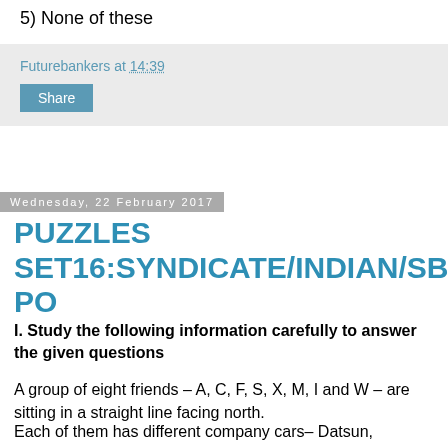5) None of these
Futurebankers at 14:39
Share
Wednesday, 22 February 2017
PUZZLES SET16:SYNDICATE/INDIAN/SBI PO
I. Study the following information carefully to answer the given questions
A group of eight friends – A, C, F, S, X, M, I and W – are sitting in a straight line facing north.
Each of them has different company cars– Datsun, Renault, Hyundai, Tata, Maruti, Toyota, BMW and Volkswagen. Each of